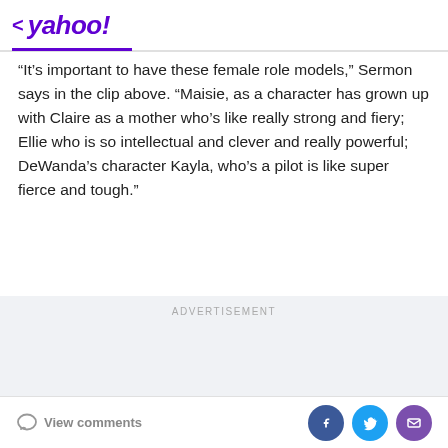< yahoo!
“It’s important to have these female role models,” Sermon says in the clip above. “Maisie, as a character has grown up with Claire as a mother who’s like really strong and fiery; Ellie who is so intellectual and clever and really powerful; DeWanda’s character Kayla, who’s a pilot is like super fierce and tough.”
ADVERTISEMENT
View comments